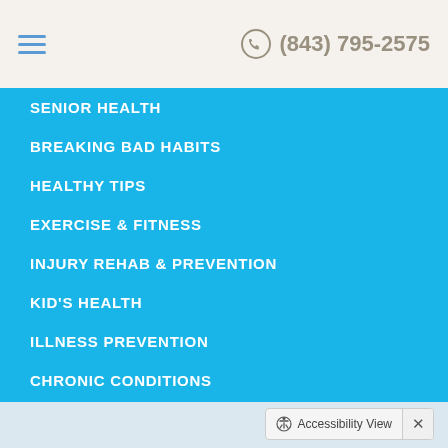(843) 795-2575
SENIOR HEALTH
BREAKING BAD HABITS
HEALTHY TIPS
EXERCISE & FITNESS
INJURY REHAB & PREVENTION
KID'S HEALTH
ILLNESS PREVENTION
CHRONIC CONDITIONS
NUTRITION & HEALTHY EATING
Accessibility View